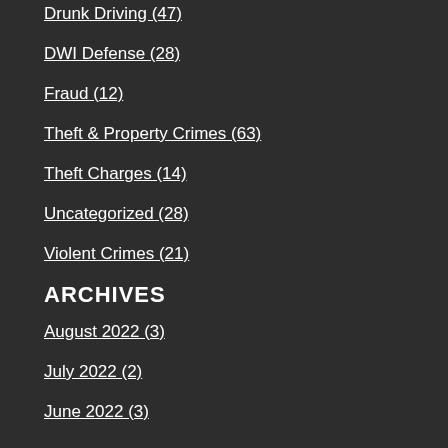Drunk Driving (47)
DWI Defense (28)
Fraud (12)
Theft & Property Crimes (63)
Theft Charges (14)
Uncategorized (28)
Violent Crimes (21)
ARCHIVES
August 2022 (3)
July 2022 (2)
June 2022 (3)